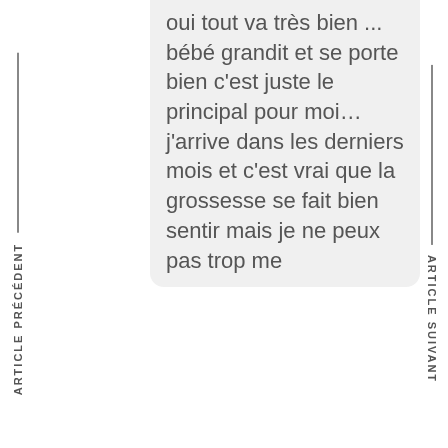oui tout va très bien ... bébé grandit et se porte bien c'est juste le principal pour moi…j'arrive dans les derniers mois et c'est vrai que la grossesse se fait bien sentir mais je ne peux pas trop me
ARTICLE PRÉCÉDENT
ARTICLE SUIVANT